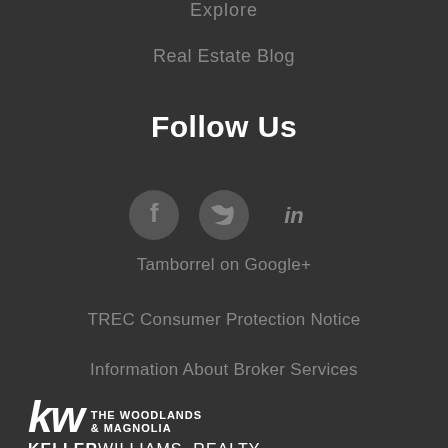Explore
Real Estate Blog
Follow Us
[Figure (infographic): Social media icons: Facebook, Twitter, LinkedIn]
Tamborrel on Google+
TREC Consumer Protection Notice
Information About Broker Services
[Figure (logo): Keller Williams Realty - The Woodlands & Magnolia logo]